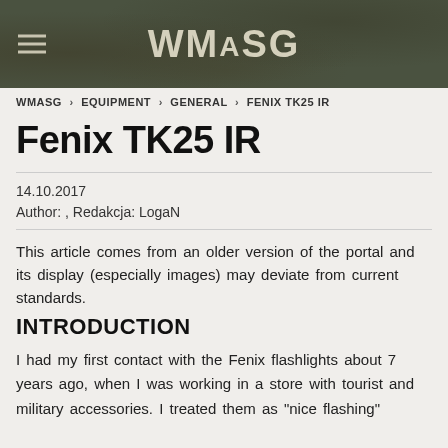WMASG
WMASG > EQUIPMENT > GENERAL > FENIX TK25 IR
Fenix TK25 IR
14.10.2017
Author: , Redakcja: LogaN
This article comes from an older version of the portal and its display (especially images) may deviate from current standards.
INTRODUCTION
I had my first contact with the Fenix flashlights about 7 years ago, when I was working in a store with tourist and military accessories. I treated them as "nice flashing"